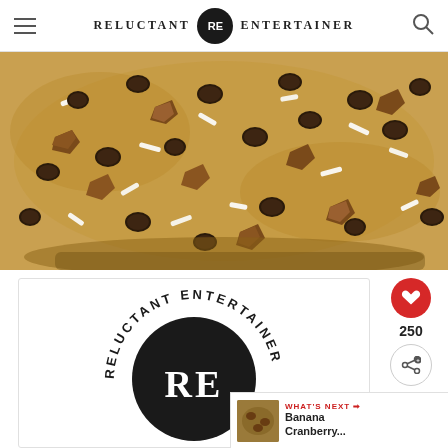RELUCTANT RE ENTERTAINER
[Figure (photo): Close-up photo of a baked good (likely a cookie cake or pan cookie) topped with chocolate chips, chopped pecans, and shredded coconut on a golden-brown surface.]
[Figure (logo): Reluctant Entertainer circular logo with dark black circle, RE initials in white, and text 'RELUCTANT ENTERTAINER' arcing around the top in black letters.]
250
WHAT'S NEXT → Banana Cranberry...